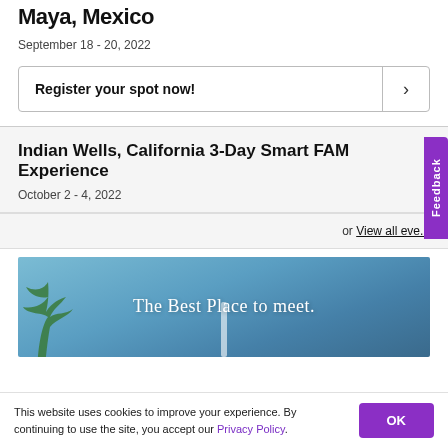Maya, Mexico
September 18 - 20, 2022
Register your spot now!
Indian Wells, California 3-Day Smart FAM Experience
October 2 - 4, 2022
or View all eve...
[Figure (photo): Advertisement banner with sky background and text 'The Best Place to meet.']
This website uses cookies to improve your experience. By continuing to use the site, you accept our Privacy Policy.